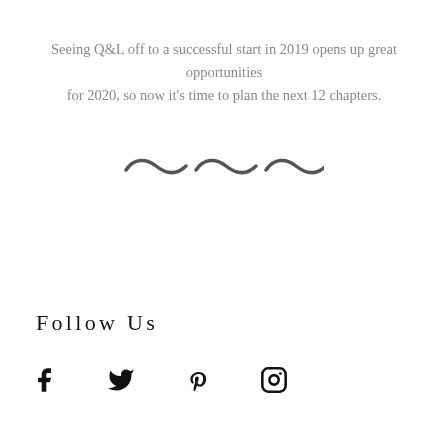Seeing Q&L off to a successful start in 2019 opens up great opportunities for 2020, so now it's time to plan the next 12 chapters.
[Figure (illustration): Three decorative tilde/wave divider marks in dark gray]
Follow Us
[Figure (infographic): Social media icons: Facebook, Twitter, Pinterest, Instagram]